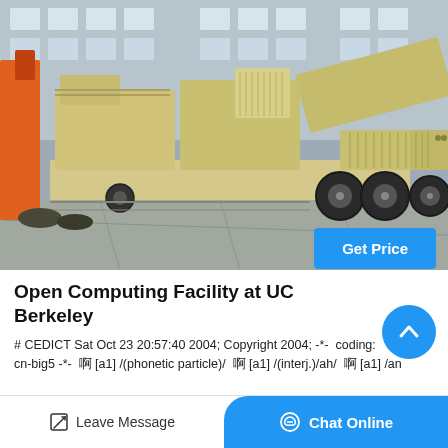[Figure (photo): Large mobile crushing/screening plant machine on wheels inside an industrial facility. The machine is cream/beige colored with heavy-duty rubber tires. Orange machinery visible on the left side. Concrete floor and industrial building in background.]
Get Price
Open Computing Facility at UC Berkeley
# CEDICT Sat Oct 23 20:57:40 2004; Copyright 2004; -*-  coding: cn-big5 -*-  啊 [a1] /(phonetic particle)/ 啊 [a1] /(interj.)/ah/ 啊 [a1] /an
Leave Message
Chat Online